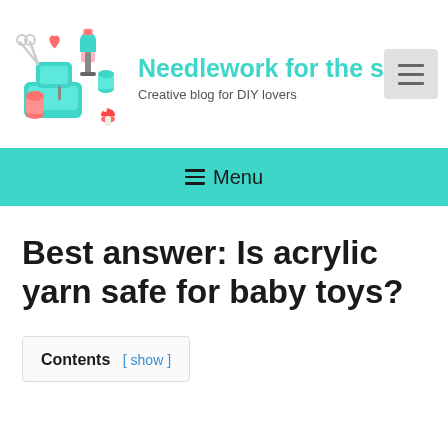[Figure (logo): Needlework blog logo with sewing machine, scissors, cupcake, heart and sewing accessories illustration]
Needlework for the s
Creative blog for DIY lovers
≡ Menu
Best answer: Is acrylic yarn safe for baby toys?
Contents [ show ]